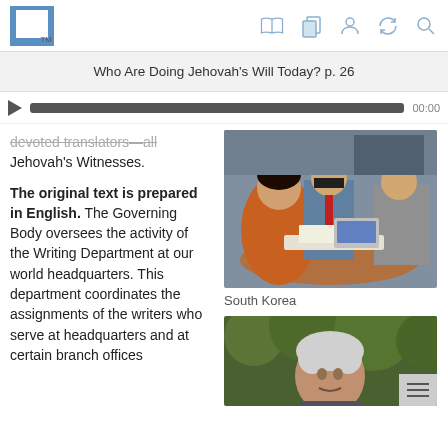Who Are Doing Jehovah's Will Today? p. 26
devoted translators—all Jehovah's Witnesses.
The original text is prepared in English. The Governing Body oversees the activity of the Writing Department at our world headquarters. This department coordinates the assignments of the writers who serve at headquarters and at certain branch offices
[Figure (photo): Three people (two men and a woman) sitting around a round table reviewing documents and books, office setting]
South Korea
[Figure (photo): Elderly man with gray hair outdoors with green foliage behind him]